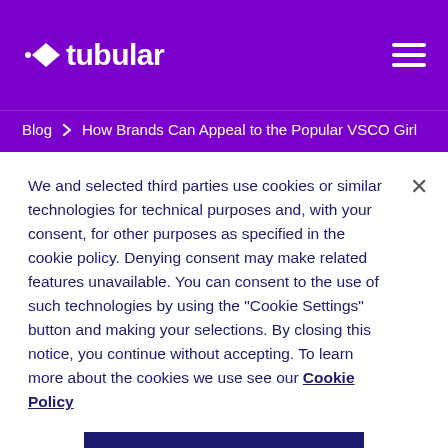[Figure (logo): Tubular logo with white diamond arrow icon and white text 'tubular' on purple background, with hamburger menu icon on the right]
Blog > How Brands Can Appeal to the Popular VSCO Girl
We and selected third parties use cookies or similar technologies for technical purposes and, with your consent, for other purposes as specified in the cookie policy. Denying consent may make related features unavailable. You can consent to the use of such technologies by using the “Cookie Settings” button and making your selections. By closing this notice, you continue without accepting. To learn more about the cookies we use see our Cookie Policy
COOKIES SETTINGS